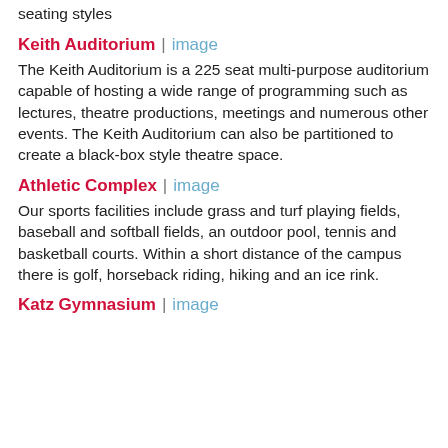seating styles
Keith Auditorium | image
The Keith Auditorium is a 225 seat multi-purpose auditorium capable of hosting a wide range of programming such as lectures, theatre productions, meetings and numerous other events. The Keith Auditorium can also be partitioned to create a black-box style theatre space.
Athletic Complex | image
Our sports facilities include grass and turf playing fields, baseball and softball fields, an outdoor pool, tennis and basketball courts. Within a short distance of the campus there is golf, horseback riding, hiking and an ice rink.
Katz Gymnasium | image